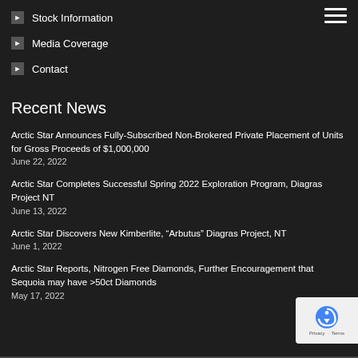Stock Information
Media Coverage
Contact
Recent News
Arctic Star Announces Fully-Subscribed Non-Brokered Private Placement of Units for Gross Proceeds of $1,000,000
June 22, 2022
Arctic Star Completes Successful Spring 2022 Exploration Program, Diagras Project NT
June 13, 2022
Arctic Star Discovers New Kimberlite, “Arbutus” Diagras Project, NT
June 1, 2022
Arctic Star Reports, Nitrogen Free Diamonds, Further Encouragement that Sequoia may have >50ct Diamonds
May 17, 2022